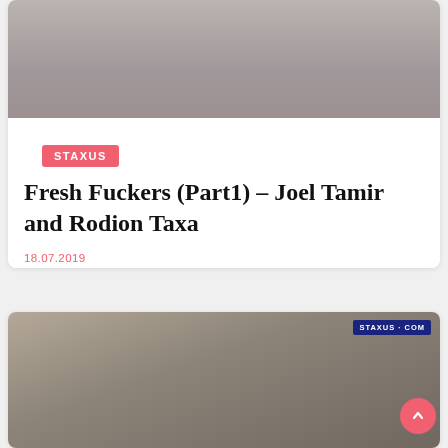[Figure (photo): Cropped photo showing partial view of a person lying on grey fabric surface]
STAXUS
Fresh Fuckers (Part1) – Joel Tamir and Rodion Taxa
18.07.2019
[Figure (photo): Photo of two young men, with STAXUS.COM watermark in top right corner]